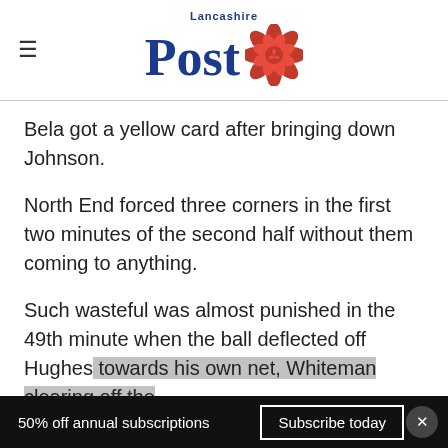Lancashire Post
Bela got a yellow card after bringing down Johnson.
North End forced three corners in the first two minutes of the second half without them coming to anything.
Such wasteful was almost punished in the 49th minute when the ball deflected off Hughes towards his own net, Whiteman clearing off the
50% off annual subscriptions   Subscribe today